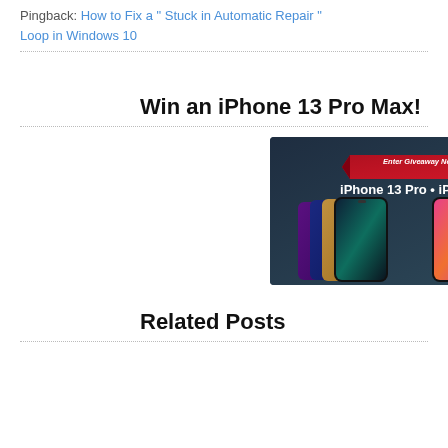Pingback: How to Fix a " Stuck in Automatic Repair " Loop in Windows 10
Win an iPhone 13 Pro Max!
[Figure (illustration): iPhone 13 Pro Max giveaway banner with dark blue background showing multiple iPhone 13 Pro and iPhone 13 devices, a red ribbon saying 'Enter Giveaway Now', and text 'iPhone 13 Pro • iPhone 13']
Related Posts